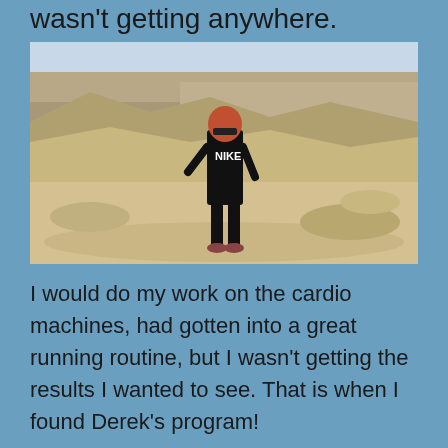wasn't getting anywhere.
[Figure (photo): Woman with red hair wearing a black Nike shirt and black pants standing on rocky terrain at what appears to be a canyon or desert landscape.]
I would do my work on the cardio machines, had gotten into a great running routine, but I wasn't getting the results I wanted to see. That is when I found Derek's program!